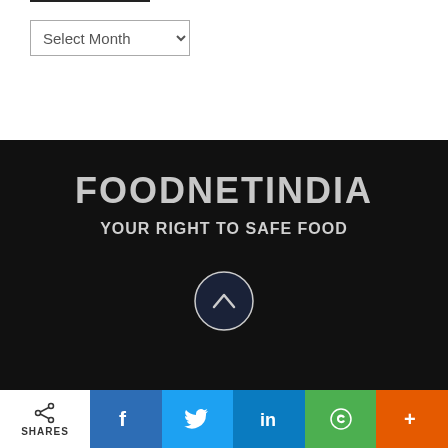[Figure (screenshot): Select Month dropdown UI element]
FOODNETINDIA
YOUR RIGHT TO SAFE FOOD
[Figure (other): Scroll-to-top circular button with upward chevron arrow]
COPYRIGHT. ALL RIGHTS RESERVED.
[Figure (infographic): Social share bar with SHARES, Facebook, Twitter, LinkedIn, WhatsApp, and More (+) buttons]